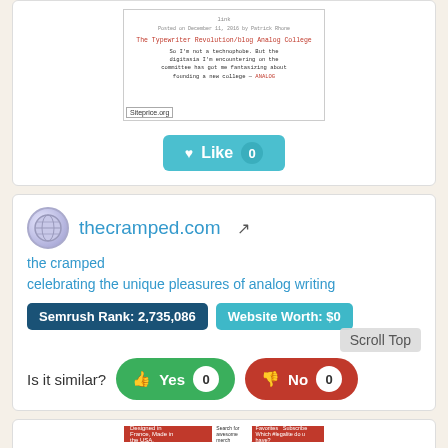[Figure (screenshot): Screenshot of a blog post page with siteprice.org badge overlay and a Like button with count 0]
thecramped.com
the cramped
celebrating the unique pleasures of analog writing
Semrush Rank: 2,735,086
Website Worth: $0
Scroll Top
Is it similar?
Yes 0
No 0
[Figure (screenshot): Bottom card showing a red-bar website header with Quo logo]